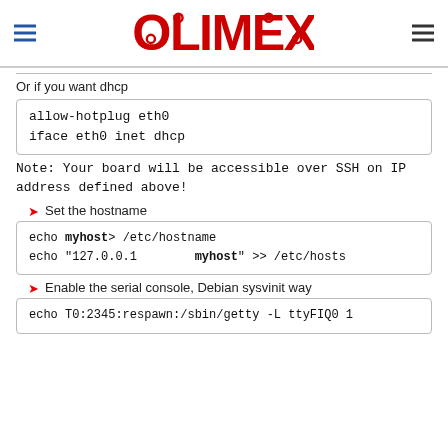OLIMEX
Or if you want dhcp
allow-hotplug eth0
iface eth0 inet dhcp
Note: Your board will be accessible over SSH on IP address defined above!
Set the hostname
echo myhost> /etc/hostname
echo "127.0.0.1        myhost" >> /etc/hosts
Enable the serial console, Debian sysvinit way
echo T0:2345:respawn:/sbin/getty -L ttyFIQ0 1